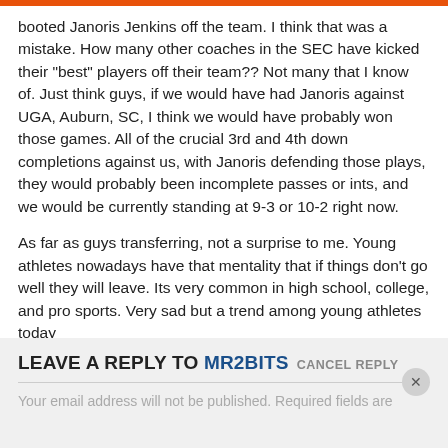booted Janoris Jenkins off the team. I think that was a mistake. How many other coaches in the SEC have kicked their "best" players off their team?? Not many that I know of. Just think guys, if we would have had Janoris against UGA, Auburn, SC, I think we would have probably won those games. All of the crucial 3rd and 4th down completions against us, with Janoris defending those plays, they would probably been incomplete passes or ints, and we would be currently standing at 9-3 or 10-2 right now.
As far as guys transferring, not a surprise to me. Young athletes nowadays have that mentality that if things don't go well they will leave. Its very common in high school, college, and pro sports. Very sad but a trend among young athletes today
REPLY
LEAVE A REPLY TO MR2BITS CANCEL REPLY
Your email address will not be published. Required fields are